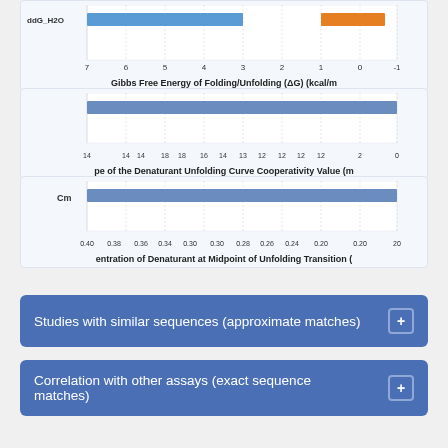[Figure (bar-chart): Horizontal bar chart showing ddG_H2O values with blue and orange bars, x-axis from 7 to -1]
[Figure (bar-chart): Horizontal bar chart with blue bar, x-axis values 14-2]
[Figure (bar-chart): Horizontal bar chart showing Cm values, x-axis from 0.40 to 0.20]
Studies with similar sequences (approximate matches)
Correlation with other assays (exact sequence matches)